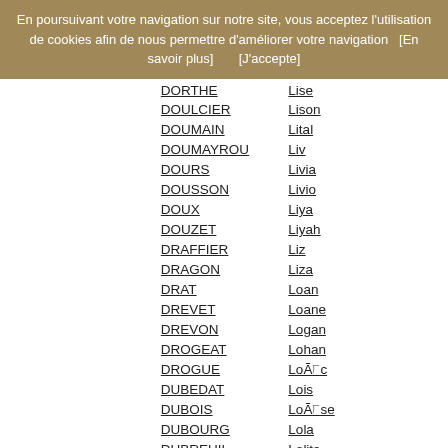En poursuivant votre navigation sur notre site, vous acceptez l'utilisation de cookies afin de nous permettre d'améliorer votre navigation   [En savoir plus]        [J'accepte]
DORTHE
Lise
DOULCIER
Lison
DOUMAIN
Lital
DOUMAYROU
Liv
DOURS
Livia
DOUSSON
Livio
DOUX
Liya
DOUZET
Liyah
DRAFFIER
Liz
DRAGON
Liza
DRAT
Loan
DREVET
Loane
DREVON
Logan
DROGEAT
Lohan
DROGUE
Loïc
DUBEDAT
Lois
DUBOIS
Loïse
DUBOURG
Lola
DUBREUIL
Lolita
DUCCAROUGE
Lorena
DUCHAMP
Lorenzo
DUCHAMPT
Loris